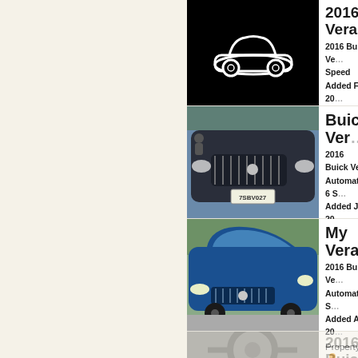[Figure (screenshot): A car listing app/website showing multiple Buick Verano listings. Left side is a cream/beige sidebar. Right side shows 4 car listing cards each with a car image and details including title, year/model/transmission, date added, and property owner icon.]